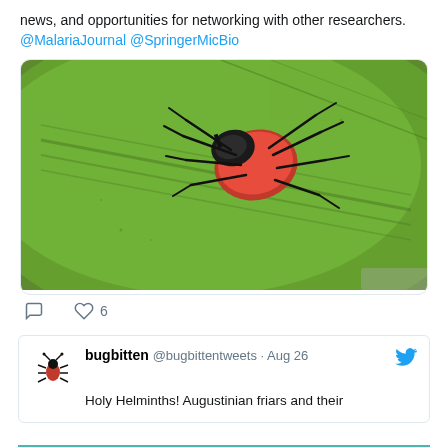news, and opportunities for networking with other researchers.
@MalariaJournal @SpringerMicBio
[Figure (photo): Close-up photo of a tick (red and black body) resting on a green leaf surface]
6 likes
bugbitten @bugbittentweets · Aug 26
Holy Helminths! Augustinian friars and their
ARCHIVES